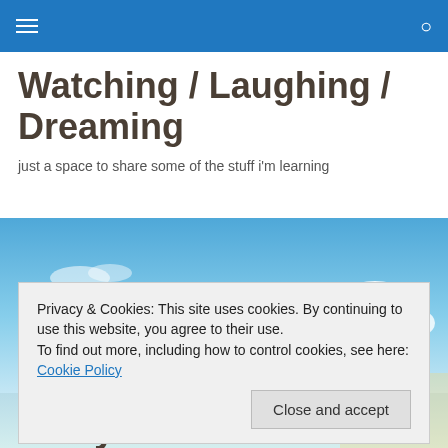Navigation bar with hamburger menu and search icon
Watching / Laughing / Dreaming
just a space to share some of the stuff i'm learning
[Figure (photo): Blue sky with white clouds, outdoor scene]
Privacy & Cookies: This site uses cookies. By continuing to use this website, you agree to their use.
To find out more, including how to control cookies, see here: Cookie Policy
Story